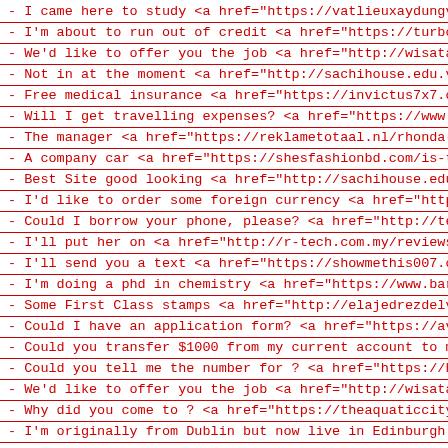- I came here to study <a href="https://vatlieuxaydungvin
- I'm about to run out of credit <a href="https://turboch
- We'd like to offer you the job <a href="http://wisataho
- Not in at the moment <a href="http://sachihouse.edu.vn/
- Free medical insurance <a href="https://invictus7x7.com
- Will I get travelling expenses? <a href="https://www.sk
- The manager <a href="https://reklametotaal.nl/rhonda-al
- A company car <a href="https://shesfashionbd.com/is-the
- Best Site good looking <a href="http://sachihouse.edu.v
- I'd like to order some foreign currency <a href="https:
- Could I borrow your phone, please? <a href="http://tekn
- I'll put her on <a href="http://r-tech.com.my/reviews-f
- I'll send you a text <a href="https://showmethis007.com
- I'm doing a phd in chemistry <a href="https://www.barde
- Some First Class stamps <a href="http://elajedrezdelvin
- Could I have an application form? <a href="https://avat
- Could you transfer $1000 from my current account to my
- Could you tell me the number for ? <a href="https://har
- We'd like to offer you the job <a href="http://wisataho
- Why did you come to ? <a href="https://theaquaticcity.c
- I'm originally from Dublin but now live in Edinburgh <a